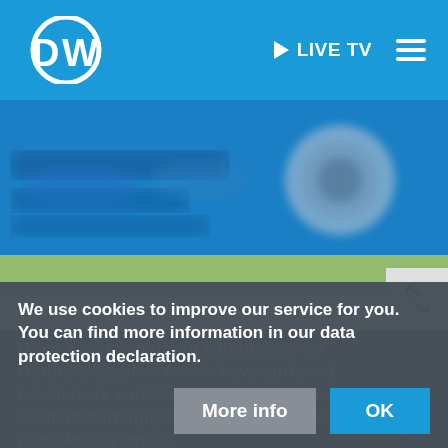DW | LIVE TV | Menu
[Figure (screenshot): Blurred news image with blue/green tones, partially visible content]
Once again, reports of nationalists on Germany's police forces have surfaced. Lawmakers and law enforcement unions seem disturbingly unconcerned, DW's Hans Pfeifer writes.
We use cookies to improve our service for you. You can find more information in our data protection declaration.